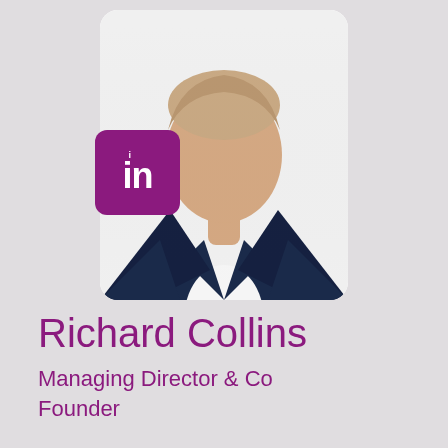[Figure (photo): Professional headshot of Richard Collins wearing a dark navy suit and white shirt, upper body visible, cropped in a white rounded-corner card with a LinkedIn logo badge overlay in the lower-left corner]
Richard Collins
Managing Director & Co Founder